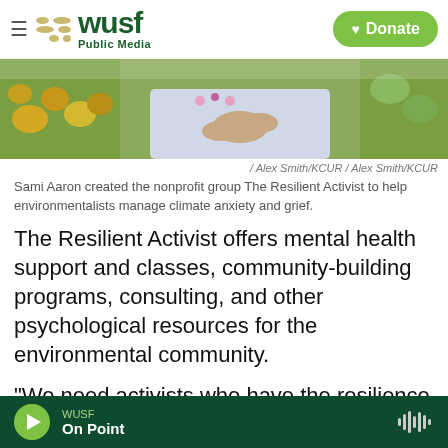WUSF Public Media
[Figure (photo): A person in a light blue/white long-sleeved shirt holding something small, surrounded by wildflowers in a garden setting]
/ Alex Smith/KCUR / Alex Smith/KCUR
Sami Aaron created the nonprofit group The Resilient Activist to help environmentalists manage climate anxiety and grief.
The Resilient Activist offers mental health support and classes, community-building programs, consulting, and other psychological resources for the environmental community.
"We need activists who have the resilience to see us through these difficult times," Aaron says
WUSF On Point